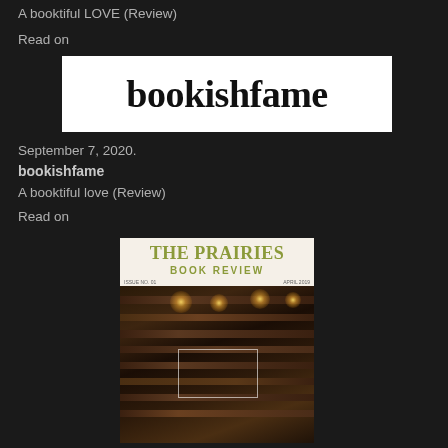A booktiful LOVE (Review)
Read on
[Figure (logo): bookishfame logo — bold serif text on white background]
September 7, 2020.
bookishfame
A booktiful love (Review)
Read on
[Figure (photo): The Prairies Book Review magazine cover showing a library interior with bookshelves and hanging lights, issue no. 01, April 2019]